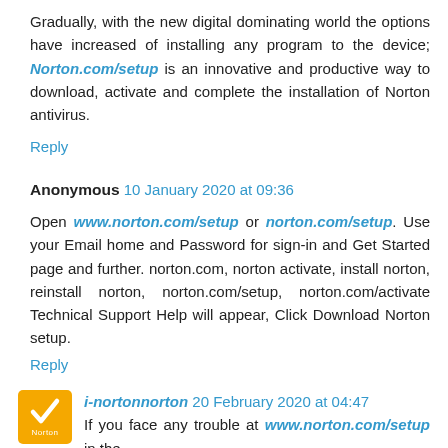Gradually, with the new digital dominating world the options have increased of installing any program to the device; Norton.com/setup is an innovative and productive way to download, activate and complete the installation of Norton antivirus.
Reply
Anonymous 10 January 2020 at 09:36
Open www.norton.com/setup or norton.com/setup. Use your Email home and Password for sign-in and Get Started page and further. norton.com, norton activate, install norton, reinstall norton, norton.com/setup, norton.com/activate Technical Support Help will appear, Click Download Norton setup.
Reply
[Figure (logo): Norton antivirus yellow square logo with checkmark and Norton text]
i-nortonnorton 20 February 2020 at 04:47
If you face any trouble at www.norton.com/setup in the